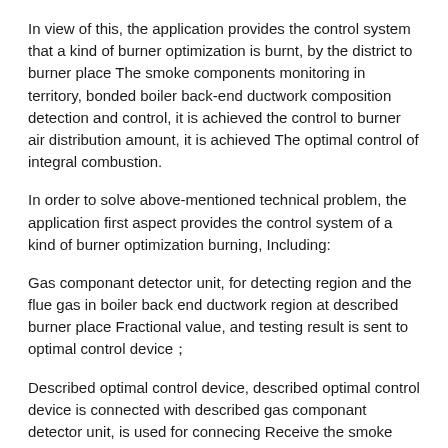In view of this, the application provides the control system that a kind of burner optimization is burnt, by the district to burner place The smoke components monitoring in territory, bonded boiler back-end ductwork composition detection and control, it is achieved the control to burner air distribution amount, it is achieved The optimal control of integral combustion.
In order to solve above-mentioned technical problem, the application first aspect provides the control system of a kind of burner optimization burning, Including:
Gas componant detector unit, for detecting region and the flue gas in boiler back end ductwork region at described burner place Fractional value, and testing result is sent to optimal control device；
Described optimal control device, described optimal control device is connected with described gas componant detector unit, is used for connecing Receive the smoke components numerical value that described gas componant detector unit detects, and control to refer to according to described smoke components numerical